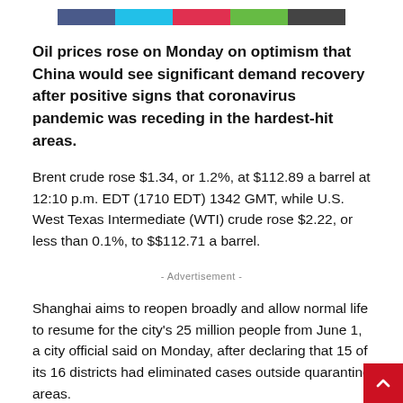[Color bar decorative header]
Oil prices rose on Monday on optimism that China would see significant demand recovery after positive signs that coronavirus pandemic was receding in the hardest-hit areas.
Brent crude rose $1.34, or 1.2%, at $112.89 a barrel at 12:10 p.m. EDT (1710 EDT) 1342 GMT, while U.S. West Texas Intermediate (WTI) crude rose $2.22, or less than 0.1%, to $$112.71 a barrel.
- Advertisement -
Shanghai aims to reopen broadly and allow normal life to resume for the city's 25 million people from June 1, a city official said on Monday, after declaring that 15 of its 16 districts had eliminated cases outside quarantine areas.